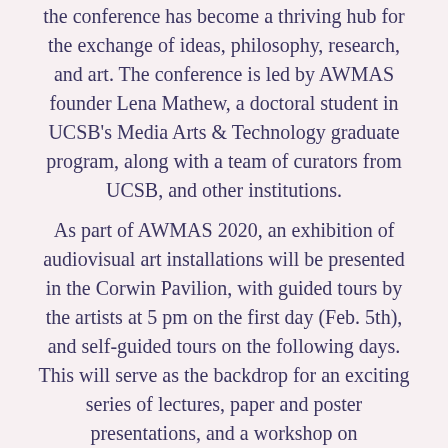the conference has become a thriving hub for the exchange of ideas, philosophy, research, and art. The conference is led by AWMAS founder Lena Mathew, a doctoral student in UCSB's Media Arts & Technology graduate program, along with a team of curators from UCSB, and other institutions.
As part of AWMAS 2020, an exhibition of audiovisual art installations will be presented in the Corwin Pavilion, with guided tours by the artists at 5 pm on the first day (Feb. 5th), and self-guided tours on the following days. This will serve as the backdrop for an exciting series of lectures, paper and poster presentations, and a workshop on programming for the creation of experimental computer music. The conference will culminate in a free multimedia concert on the evening of the final day.
Artists